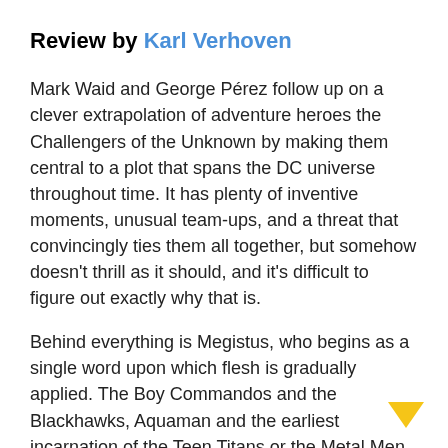Review by Karl Verhoven
Mark Waid and George Pérez follow up on a clever extrapolation of adventure heroes the Challengers of the Unknown by making them central to a plot that spans the DC universe throughout time. It has plenty of inventive moments, unusual team-ups, and a threat that convincingly ties them all together, but somehow doesn't thrill as it should, and it's difficult to figure out exactly why that is.
Behind everything is Megistus, who begins as a single word upon which flesh is gradually applied. The Boy Commandos and the Blackhawks, Aquaman and the earliest incarnation of the Teen Titans or the Metal Men and Robby Reed from Dial H for Hero… they're all battling manifestations of the same foe, while standing outside history the Challengers of the Unknown